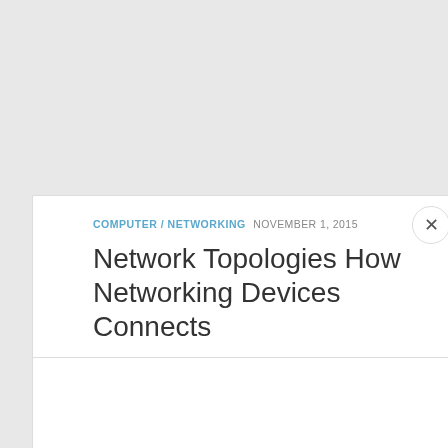COMPUTER / NETWORKING  NOVEMBER 1, 2015
Network Topologies How Networking Devices Connects
Network Topologies – Network is an interconnection of computers, workstations and peripherals. It facilitates the...